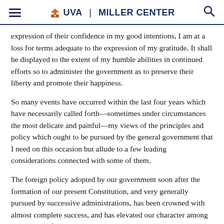UVA | MILLER CENTER
expression of their confidence in my good intentions, I am at a loss for terms adequate to the expression of my gratitude. It shall be displayed to the extent of my humble abilities in continued efforts so to administer the government as to preserve their liberty and promote their happiness.
So many events have occurred within the last four years which have necessarily called forth—sometimes under circumstances the most delicate and painful—my views of the principles and policy which ought to be pursued by the general government that I need on this occasion but allude to a few leading considerations connected with some of them.
The foreign policy adopted by our government soon after the formation of our present Constitution, and very generally pursued by successive administrations, has been crowned with almost complete success, and has elevated our character among the nations of the earth. To do justice to all and to